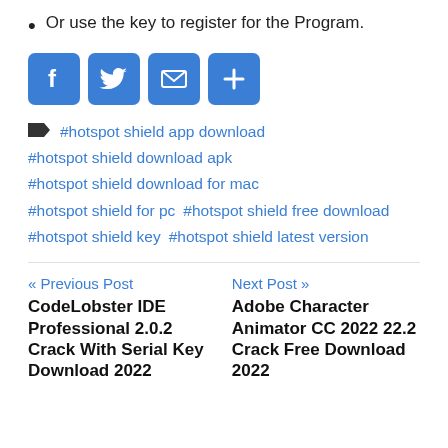Or use the key to register for the Program.
[Figure (infographic): Social share buttons: Facebook, Twitter, Email, and More (plus sign), each as a blue rounded square icon]
#hotspot shield app download #hotspot shield download apk #hotspot shield download for mac #hotspot shield for pc #hotspot shield free download #hotspot shield key #hotspot shield latest version
« Previous Post
CodeLobster IDE Professional 2.0.2 Crack With Serial Key Download 2022
Next Post »
Adobe Character Animator CC 2022 22.2 Crack Free Download 2022